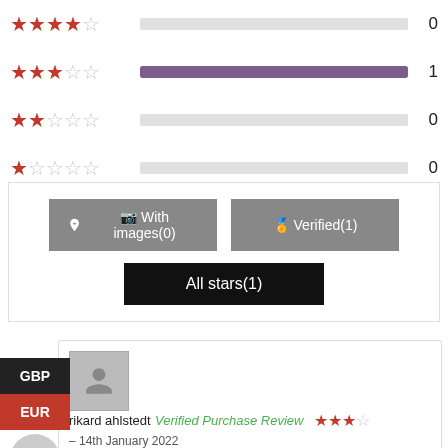[Figure (infographic): Star rating bar chart rows: 4-star row with empty bar count 0, 3-star row with full purple bar count 1, 2-star row with empty bar count 0, 1-star row with empty bar count 0]
[Figure (infographic): Filter buttons section with 'With images(0)' gray button, 'Verified(1)' gray button, and 'All stars(1)' black button]
rikard ahlstedt Verified Purchase Review – 14th January 2022
Good and Manny Good triple h
Between and sting, I wanted more extra